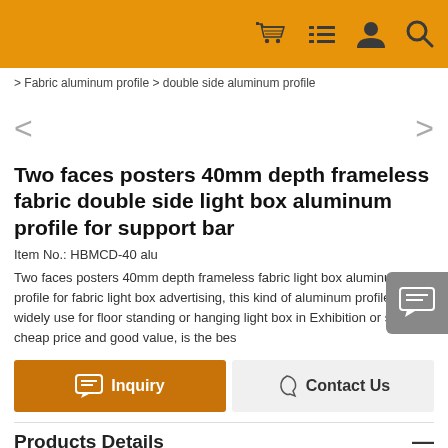Header navigation bar with cart, menu, user, and search icons
> Fabric aluminum profile > double side aluminum profile
Two faces posters 40mm depth frameless fabric double side light box aluminum profile for support bar
Item No.: HBMCD-40 alu
Two faces posters 40mm depth frameless fabric light box aluminum  profile for fabric light box advertising, this kind of aluminum profile is widely use for floor standing or hanging light box in Exhibition or stores, cheap price and good value, is the bes
Inquiry   Contact Us
Products Details